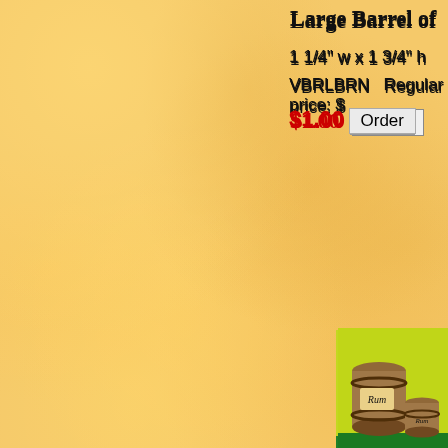Large Barrel of
1 1/4" w x 1 3/4" h
VBRLBRN   Regular price: $
$1.00  Order
[Figure (photo): Photo of large wooden barrel miniature on green/yellow background]
Large Barrel of
1 1/4" w x 1 3/4" h
VBRLRUM   Regular price: $
$1.00  Order
[Figure (photo): Photo of large wooden barrel marked Rum miniature on green/yellow background]
Large Barrel of W
1 1/4" w x 1 3/4" h
VBRLWSKY   Regular price:
[Figure (photo): Photo of large wooden barrel marked Whiskey miniature on green/yellow background]